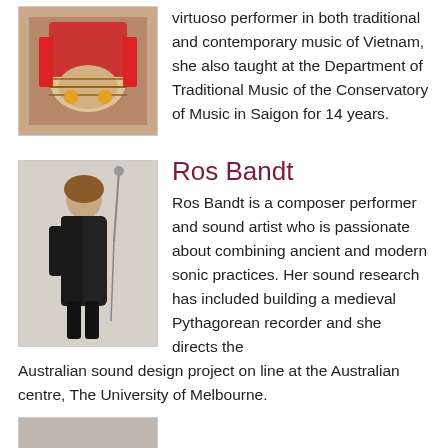[Figure (photo): Person playing a traditional Vietnamese instrument, wearing red and yellow costume]
virtuoso performer in both traditional and contemporary music of Vietnam, she also taught at the Department of Traditional Music of the Conservatory of Music in Saigon for 14 years.
Ros Bandt
[Figure (photo): Woman in black clothing standing in a room with a white wall, with audio cables hanging nearby]
Ros Bandt is a composer performer and sound artist who is passionate about combining ancient and modern sonic practices. Her sound research has included building a medieval Pythagorean recorder and she directs the Australian sound design project on line at the Australian centre, The University of Melbourne.
[Figure (photo): Partial photo visible at bottom of page]